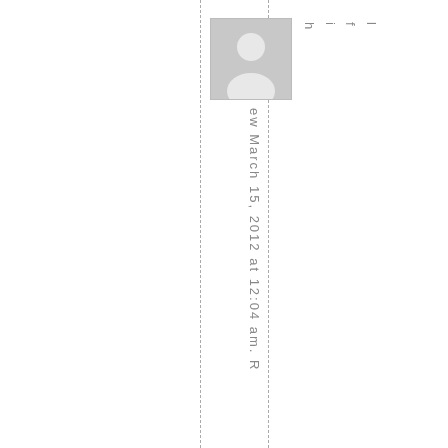[Figure (illustration): Generic user avatar placeholder image - grey square with white person silhouette]
hifl
ew March 15, 2012 at 12:04 am. R